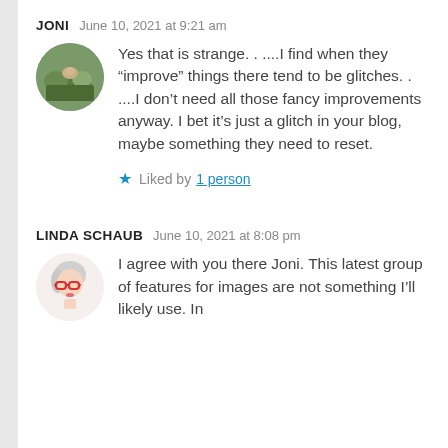JONI   June 10, 2021 at 9:21 am
Yes that is strange. . ...I find when they “improve” things there tend to be glitches. . ...I don’t need all those fancy improvements anyway. I bet it’s just a glitch in your blog, maybe something they need to reset.
★ Liked by 1 person
LINDA SCHAUB   June 10, 2021 at 8:08 pm
I agree with you there Joni. This latest group of features for images are not something I’ll likely use. In